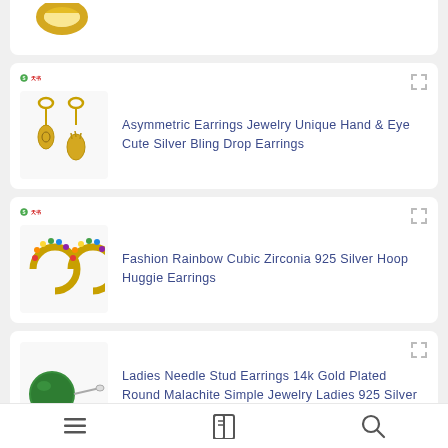[Figure (photo): Gold ring product image (partially shown at top)]
[Figure (photo): Asymmetric gold drop earrings with hand and eye charms]
Asymmetric Earrings Jewelry Unique Hand & Eye Cute Silver Bling Drop Earrings
[Figure (photo): Fashion rainbow cubic zirconia gold hoop huggie earrings]
Fashion Rainbow Cubic Zirconia 925 Silver Hoop Huggie Earrings
[Figure (photo): Ladies needle stud earring with green malachite stone]
Ladies Needle Stud Earrings 14k Gold Plated Round Malachite Simple Jewelry Ladies 925 Silver
Elegant Ladies Pendant Earrings 14k Plated Gold
[Figure (screenshot): Bottom navigation bar with menu, bookmarks, and search icons]